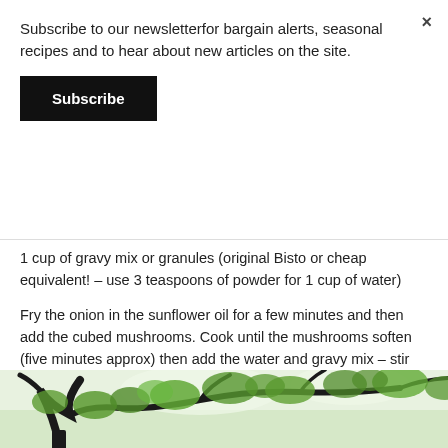Subscribe to our newsletterfor bargain alerts, seasonal recipes and to hear about new articles on the site.
Subscribe
1 cup of gravy mix or granules (original Bisto or cheap equivalent! – use 3 teaspoons of powder for 1 cup of water)
Fry the onion in the sunflower oil for a few minutes and then add the cubed mushrooms. Cook until the mushrooms soften (five minutes approx) then add the water and gravy mix – stir until thickened.
[Figure (photo): Outdoor photo of trees with green leaves and dark branches against a bright sky, viewed from below]